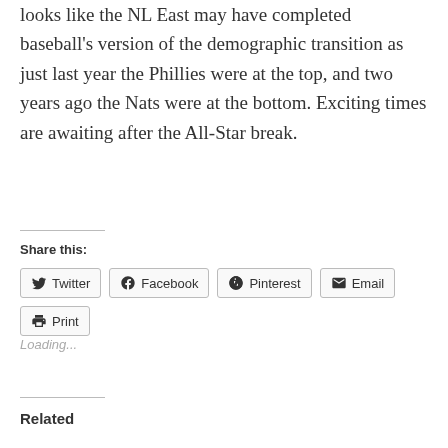looks like the NL East may have completed baseball's version of the demographic transition as just last year the Phillies were at the top, and two years ago the Nats were at the bottom. Exciting times are awaiting after the All-Star break.
Share this:
Twitter
Facebook
Pinterest
Email
Print
Loading...
Related